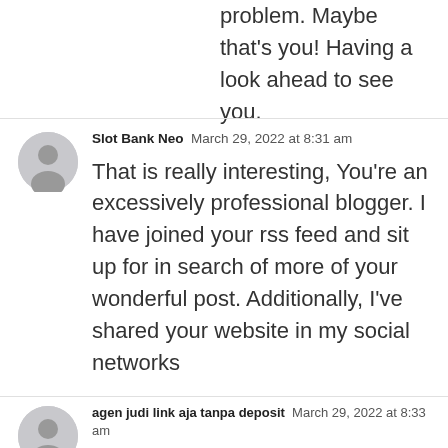problem. Maybe that's you! Having a look ahead to see you.
Slot Bank Neo  March 29, 2022 at 8:31 am

That is really interesting, You're an excessively professional blogger. I have joined your rss feed and sit up for in search of more of your wonderful post. Additionally, I've shared your website in my social networks
agen judi link aja tanpa deposit  March 29, 2022 at 8:33 am